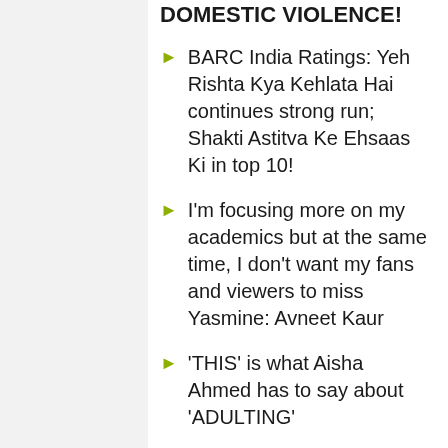DOMESTIC VIOLENCE!
BARC India Ratings: Yeh Rishta Kya Kehlata Hai continues strong run; Shakti Astitva Ke Ehsaas Ki in top 10!
I'm focusing more on my academics but at the same time, I don't want my fans and viewers to miss Yasmine: Avneet Kaur
'THIS' is what Aisha Ahmed has to say about 'ADULTING'
I do not possess the fear of